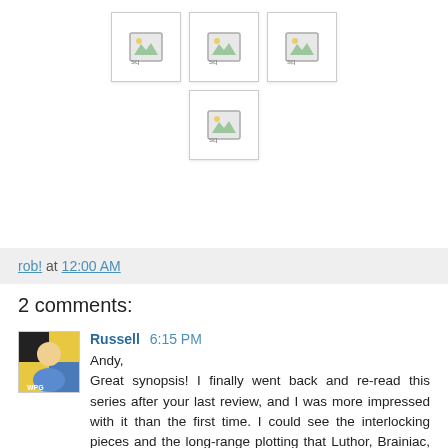[Figure (other): Four broken image placeholders labeled 'sg' arranged in two rows (3 on top, 1 in middle)]
rob! at 12:00 AM
2 comments:
Russell 6:15 PM
Andy,
Great synopsis! I finally went back and re-read this series after your last review, and I was more impressed with it than the first time. I could see the interlocking pieces and the long-range plotting that Luthor, Brainiac, and Alex Ross obviously did. Great series.